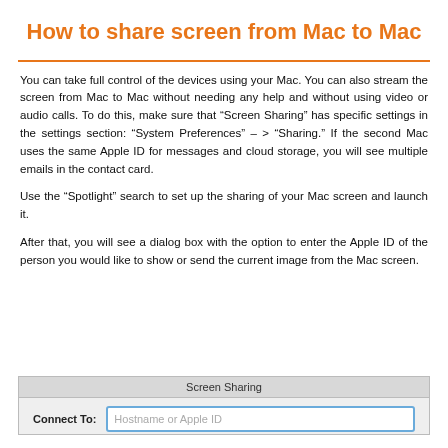How to share screen from Mac to Mac
You can take full control of the devices using your Mac. You can also stream the screen from Mac to Mac without needing any help and without using video or audio calls. To do this, make sure that “Screen Sharing” has specific settings in the settings section: “System Preferences” – > “Sharing.” If the second Mac uses the same Apple ID for messages and cloud storage, you will see multiple emails in the contact card.
Use the “Spotlight” search to set up the sharing of your Mac screen and launch it.
After that, you will see a dialog box with the option to enter the Apple ID of the person you would like to show or send the current image from the Mac screen.
[Figure (screenshot): Screen Sharing dialog box with a 'Connect To:' label and an input field showing placeholder text 'Hostname or Apple ID']